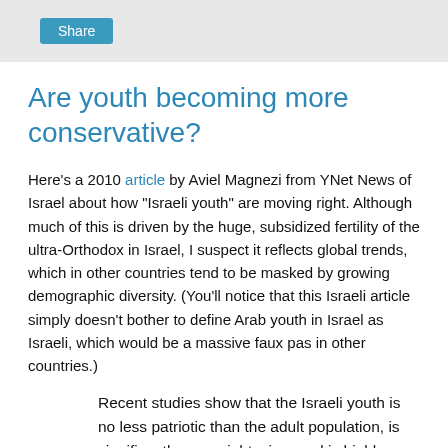Share
Are youth becoming more conservative?
Here's a 2010 article by Aviel Magnezi from YNet News of Israel about how "Israeli youth" are moving right. Although much of this is driven by the huge, subsidized fertility of the ultra-Orthodox in Israel, I suspect it reflects global trends, which in other countries tend to be masked by growing demographic diversity. (You'll notice that this Israeli article simply doesn't bother to define Arab youth in Israel as Israeli, which would be a massive faux pas in other countries.)
Recent studies show that the Israeli youth is no less patriotic than the adult population, is significantly more right-wing, and is highly motivated to enlist to the IDF's combat units. ...
March 2009 saw a record in the number of